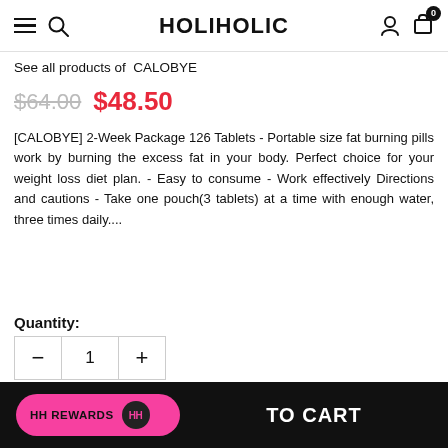HOLIHOLIC
See all products of  CALOBYE
$64.00  $48.50
[CALOBYE] 2-Week Package 126 Tablets - Portable size fat burning pills work by burning the excess fat in your body. Perfect choice for your weight loss diet plan. - Easy to consume - Work effectively Directions and cautions - Take one pouch(3 tablets) at a time with enough water, three times daily....
Quantity:
1
HH REWARDS  TO CART